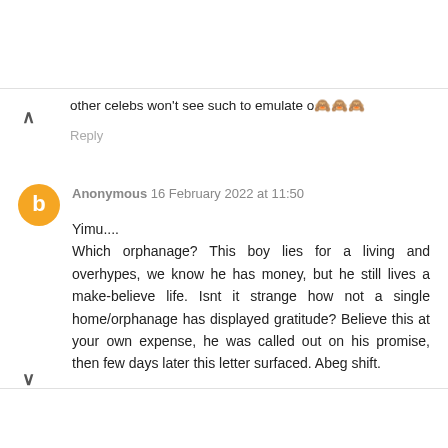other celebs won't see such to emulate o🙈🙈🙈
Reply
Anonymous 16 February 2022 at 11:50
Yimu....
Which orphanage? This boy lies for a living and overhypes, we know he has money, but he still lives a make-believe life. Isnt it strange how not a single home/orphanage has displayed gratitude? Believe this at your own expense, he was called out on his promise, then few days later this letter surfaced. Abeg shift.